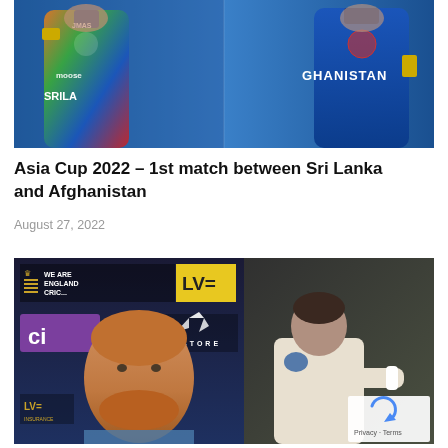[Figure (photo): Two cricket players in jerseys — Sri Lanka (colorful multicolor jersey with Moose branding and SRILA text) on the left and Afghanistan (blue jersey with GHANISTAN text) on the right, posed against a blue background]
Asia Cup 2022 – 1st match between Sri Lanka and Afghanistan
August 27, 2022
[Figure (photo): Composite image: left side shows Ben Stokes (England cricketer with ginger beard) against a press conference backdrop with WE ARE ENGLAND CRICKET, LV=, ci(gniti), CASTORE, and cinch branding; right side shows another cricketer in white test cricket clothing. Privacy/reCAPTCHA widget visible in bottom-right corner.]